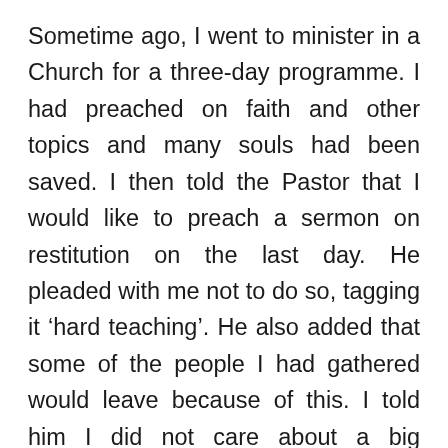Sometime ago, I went to minister in a Church for a three-day programme. I had preached on faith and other topics and many souls had been saved. I then told the Pastor that I would like to preach a sermon on restitution on the last day. He pleaded with me not to do so, tagging it ‘hard teaching’. He also added that some of the people I had gathered would leave because of this. I told him I did not care about a big congregation headed for hell. What matters most is preparing these people to get to Heaven. I have always told my children that I am a holiness preacher and so I will teach holiness until I die. This will never change